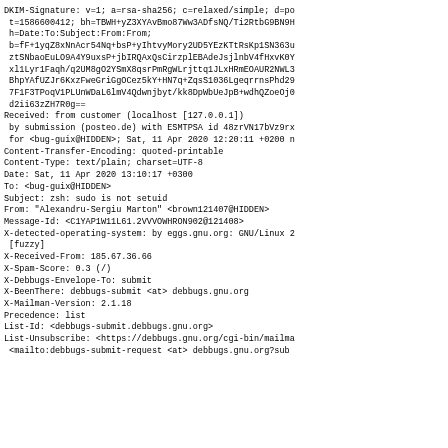DKIM-Signature: v=1; a=rsa-sha256; c=relaxed/simple; d=po
 t=1586600412; bh=TBWH+yZ3XYAvBmo87Ww3ADfsNQ/Ti2RtbG9BN9H
 h=Date:To:Subject:From:From;
 b=fF+1yqZ8xNnAcr54Nq+bsP+yIhtvyMory2UD5YEzKTtRsKp1SN363u
 ztSNbaoEuLO9A4Y9uxsP+jbIRQAxQsCirzplEBAdeJsjlnbV4fHxvK0Y
 xl1Lyr1Faqh/q2UM8gO2YSmX8qsrPmRgWLrjttq1JLxHRmEOAUR2NWL3
 BhpYAfUZJr6KxzFweGriGgOCez5kY+HN7q+ZqsS1036LgeqrrnsPhd29
 7F1F3TPoqV1PLUnWDaL6lmV4Qdwnjbyt/kk8DpWbUeJpB+wdhQZoeOj0
 d2ii63zZH7R0g==
Received: from customer (localhost [127.0.0.1])
 by submission (posteo.de) with ESMTPSA id 48zrVN17bVz9rx
 for <bug-guix@HIDDEN>; Sat, 11 Apr 2020 12:20:11 +0200 n
Content-Transfer-Encoding: quoted-printable
Content-Type: text/plain; charset=UTF-8
Date: Sat, 11 Apr 2020 13:10:17 +0300
To: <bug-guix@HIDDEN>
Subject: zsh: sudo is not setuid
From: "Alexandru-Sergiu Marton" <brown121407@HIDDEN>
Message-Id: <C1YAP1W11L61.2VVVOWHRON902@121408>
X-detected-operating-system: by eggs.gnu.org: GNU/Linux 2
 [fuzzy]
X-Received-From: 185.67.36.66
X-Spam-Score: 0.3 (/)
X-Debbugs-Envelope-To: submit
X-BeenThere: debbugs-submit <at> debbugs.gnu.org
X-Mailman-Version: 2.1.18
Precedence: list
List-Id: <debbugs-submit.debbugs.gnu.org>
List-Unsubscribe: <https://debbugs.gnu.org/cgi-bin/mailma
 <mailto:debbugs-submit-request <at> debbugs.gnu.org?sub